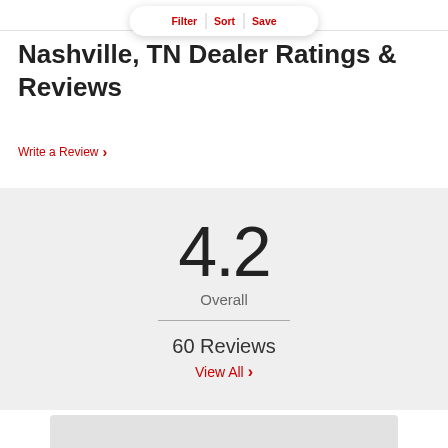Filter | Sort | Save
Nashville, TN Dealer Ratings & Reviews
Write a Review >
4.2
Overall
60 Reviews
View All >